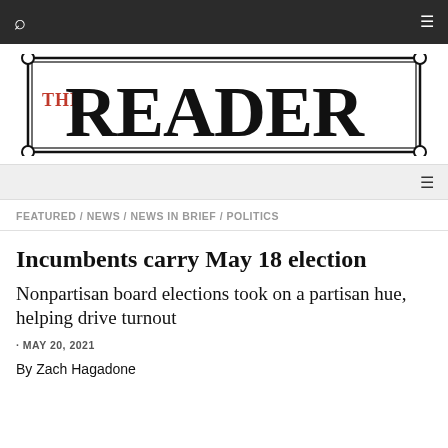The Reader — navigation bar
[Figure (logo): THE READER masthead logo with decorative border, 'THE' in red/orange and 'READER' in large black serif letters]
Secondary navigation bar with hamburger menu icon
FEATURED / NEWS / NEWS IN BRIEF / POLITICS
Incumbents carry May 18 election
Nonpartisan board elections took on a partisan hue, helping drive turnout
· MAY 20, 2021
By Zach Hagadone